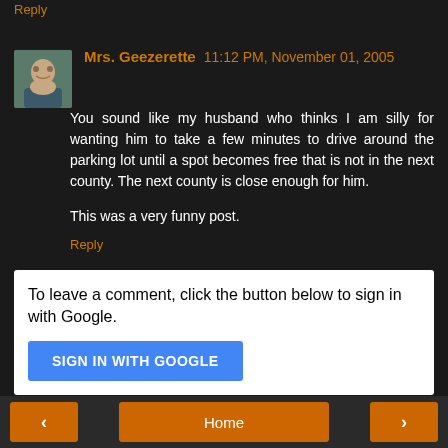Reply
Mrs. Geezerette  11:12 PM, November 01, 2005
You sound like my husband who thinks I am silly for wanting him to take a few minutes to drive around the parking lot until a spot becomes free that is not in the next county. The next county is close enough for him.
This was a very funny post.
Reply
To leave a comment, click the button below to sign in with Google.
SIGN IN WITH GOOGLE
< Home >